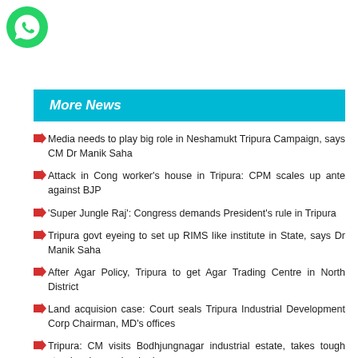[Figure (logo): WhatsApp green circular logo icon]
More News
Media needs to play big role in Neshamukt Tripura Campaign, says CM Dr Manik Saha
Attack in Cong worker's house in Tripura: CPM scales up ante against BJP
'Super Jungle Raj': Congress demands President's rule in Tripura
Tripura govt eyeing to set up RIMS like institute in State, says Dr Manik Saha
After Agar Policy, Tripura to get Agar Trading Centre in North District
Land acquision case: Court seals Tripura Industrial Development Corp Chairman, MD's offices
Tripura: CM visits Bodhjungnagar industrial estate, takes tough stand on law and order issues
TRMS services: Pending case status Tripura from Sh U...